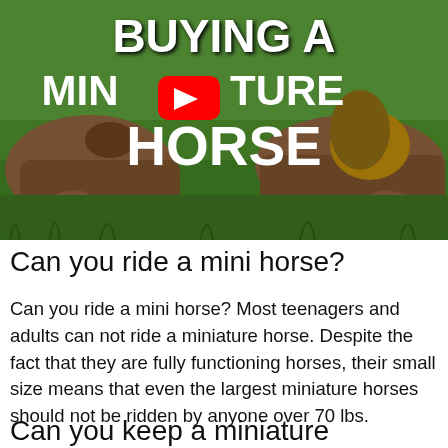[Figure (screenshot): YouTube video thumbnail showing miniature horses grazing on green grass. White bold text overlay reads 'BUYING A MINIATURE HORSE' with a red YouTube play button in the center.]
Can you ride a mini horse?
Can you ride a mini horse? Most teenagers and adults can not ride a miniature horse. Despite the fact that they are fully functioning horses, their small size means that even the largest miniature horses should not be ridden by anyone over 70 lbs.
Can you keep a miniature